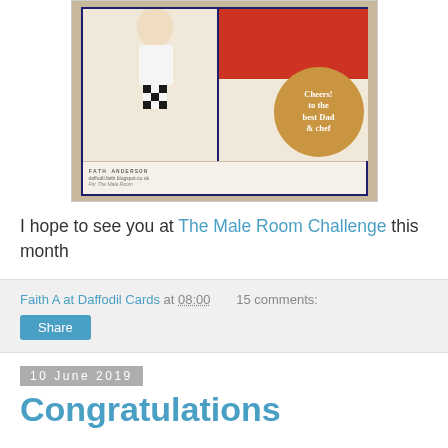[Figure (photo): A handmade greeting card with a chef/waiter figure, checkered pattern, red panel, and a gold circle badge reading 'Cheers! to the best Dad & chef'. The card is resting on a wooden surface.]
I hope to see you at The Male Room Challenge this month
Faith A at Daffodil Cards at 08:00    15 comments:
Share
10 June 2019
Congratulations